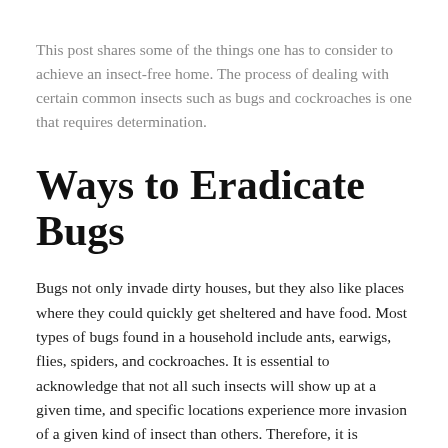This post shares some of the things one has to consider to achieve an insect-free home. The process of dealing with certain common insects such as bugs and cockroaches is one that requires determination.
Ways to Eradicate Bugs
Bugs not only invade dirty houses, but they also like places where they could quickly get sheltered and have food. Most types of bugs found in a household include ants, earwigs, flies, spiders, and cockroaches. It is essential to acknowledge that not all such insects will show up at a given time, and specific locations experience more invasion of a given kind of insect than others. Therefore, it is essential to know the types of insects linked to a given area to get an appropriate way of